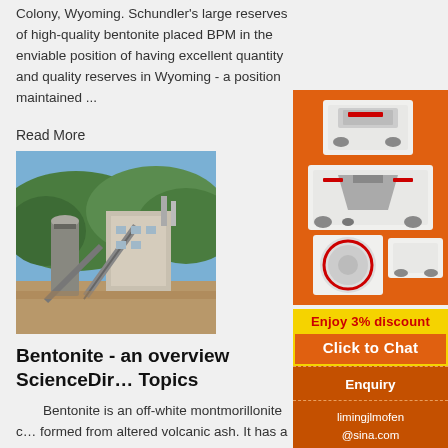Colony, Wyoming. Schundler's large reserves of high-quality bentonite placed BPM in the enviable position of having excellent quantity and quality reserves in Wyoming - a position maintained ...
Read More
[Figure (photo): Industrial factory/mining facility with conveyor belts and silos against green hills and blue sky]
Bentonite - an overview ScienceDirect Topics
Bentonite is an off-white montmorillonite clay formed from altered volcanic ash. It has a sheet structure and is especially notable for the way it absorbs and loses water and for its base-exchange properties. Sodic bentonite can absorb up to its own weight in water and can swell to 18 times its dry volume.
[Figure (infographic): Orange sidebar advertisement showing mining/crushing machinery, '3% discount', 'Click to Chat', 'Enquiry', and 'limingjlmofen@sina.com']